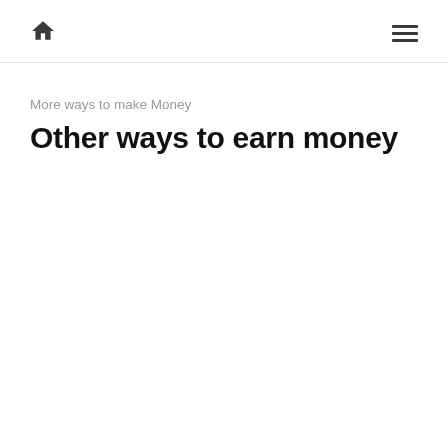Home | Menu
More ways to make Money
Other ways to earn money